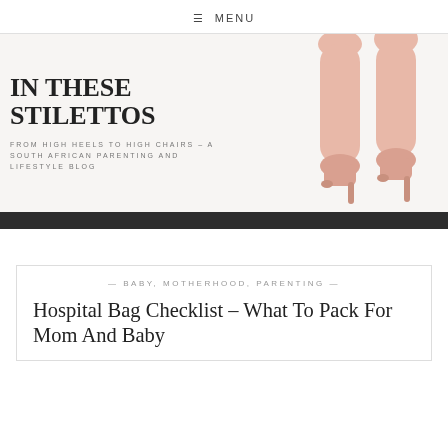≡ MENU
[Figure (illustration): Blog header banner showing 'IN THESE STILETTOS' site title with tagline 'FROM HIGH HEELS TO HIGH CHAIRS – A SOUTH AFRICAN PARENTING AND LIFESTYLE BLOG' and a photo of woman's legs in pink stiletto heels on the right side]
IN THESE STILETTOS
FROM HIGH HEELS TO HIGH CHAIRS – A SOUTH AFRICAN PARENTING AND LIFESTYLE BLOG
— BABY, MOTHERHOOD, PARENTING —
Hospital Bag Checklist – What To Pack For Mom And Baby